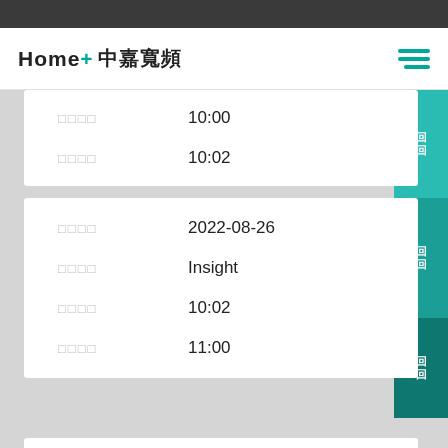Home+ 中嘉寬頻
□□□□  10:00
□□□□  10:02
□□□□  2022-08-26
□□□□  Insight
□□□□  10:02
□□□□  11:00
□□□□  2022-08-26